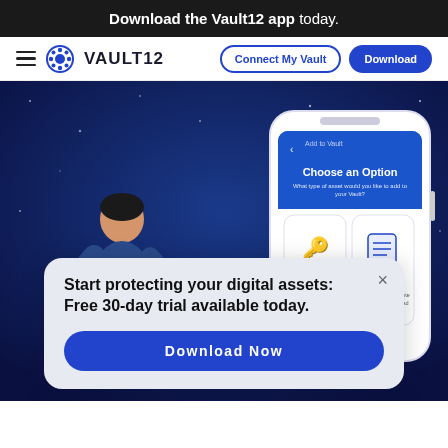Download the Vault12 app today.
[Figure (screenshot): Vault12 navigation bar with hamburger menu, Vault12 logo and wordmark, Connect My Vault outline button, and Download solid blue button]
[Figure (illustration): Dark blue hero image with two illustrated people and a smartphone showing the Vault12 app 'Choose an Option' screen with Backup Code and Note options on a starry background]
Start protecting your digital assets: Free 30-day trial available today.
Download Now